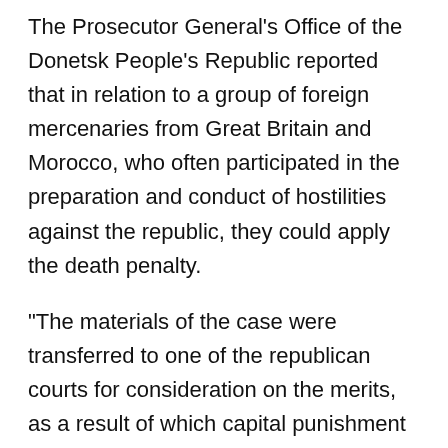The Prosecutor General's Office of the Donetsk People's Republic reported that in relation to a group of foreign mercenaries from Great Britain and Morocco, who often participated in the preparation and conduct of hostilities against the republic, they could apply the death penalty.
"The materials of the case were transferred to one of the republican courts for consideration on the merits, as a result of which capital punishment can be applied to the accused, taking into account wartime— death penalty», — Viktor Gavrilov, head of the department for the investigation of crimes against the peace and security of mankind of the Investigation Department of the Prosecutor General's Office of the DPR, spoke.
Authors Tags Subscribe to RuTube BRC Live broadcasts